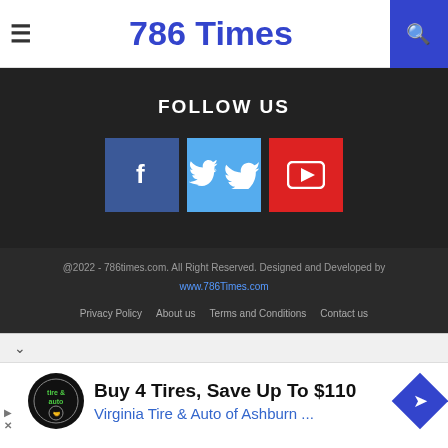786 Times
FOLLOW US
[Figure (infographic): Social media icons: Facebook (blue), Twitter (light blue), YouTube (red)]
@2022 - 786times.com. All Right Reserved. Designed and Developed by www.786Times.com
Privacy Policy   About us   Terms and Conditions   Contact us
[Figure (infographic): Advertisement: Buy 4 Tires, Save Up To $110 - Virginia Tire & Auto of Ashburn ...]